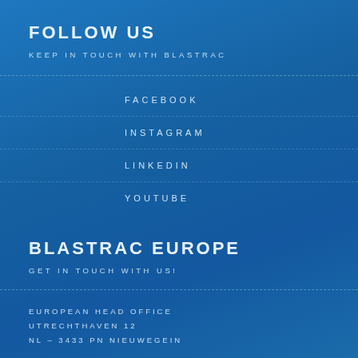FOLLOW US
KEEP IN TOUCH WITH BLASTRAC
FACEBOOK
INSTAGRAM
LINKEDIN
YOUTUBE
BLASTRAC EUROPE
GET IN TOUCH WITH US!
EUROPEAN HEAD OFFICE
UTRECHTHAVEN 12
NL – 3433 PN NIEUWEGEIN
TEL: +31 (0)30 601 88 66